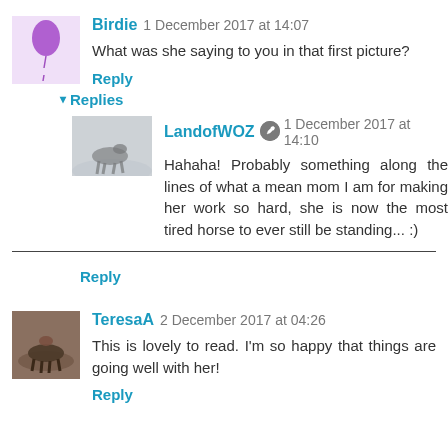Birdie 1 December 2017 at 14:07
What was she saying to you in that first picture?
Reply
Replies
LandofWOZ 1 December 2017 at 14:10
Hahaha! Probably something along the lines of what a mean mom I am for making her work so hard, she is now the most tired horse to ever still be standing... :)
Reply
TeresaA 2 December 2017 at 04:26
This is lovely to read. I'm so happy that things are going well with her!
Reply